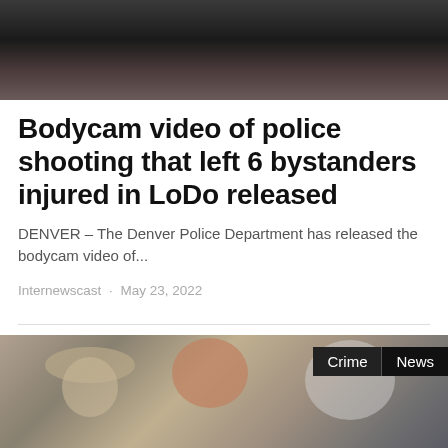[Figure (photo): Top portion of a news article image, partially cropped, showing a dark scene]
Bodycam video of police shooting that left 6 bystanders injured in LoDo released
DENVER – The Denver Police Department has released the bodycam video of...
Internewscast · May 23, 2022
[Figure (photo): Photo of law enforcement officers outdoors, with Crime and News tags overlaid in the top right corner. A bald officer wearing sunglasses is prominent in the center, with other people around him.]